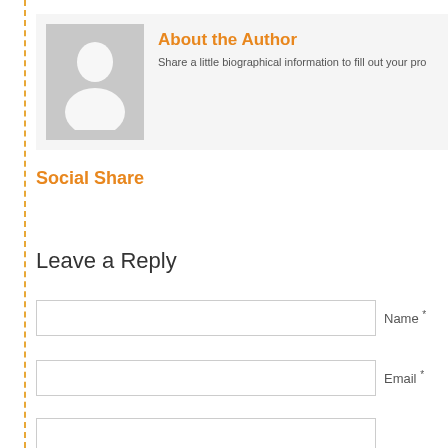[Figure (illustration): Author avatar placeholder: gray square with white silhouette of a person (head and shoulders)]
About the Author
Share a little biographical information to fill out your pro
Social Share
Leave a Reply
Name *
Email *